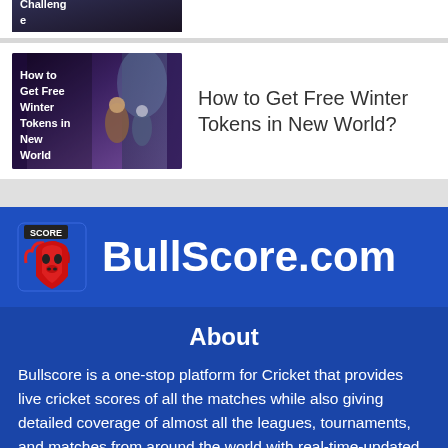[Figure (screenshot): Partial thumbnail of article about a Challenge, showing dark fantasy scene]
[Figure (screenshot): Thumbnail image for 'How to Get Free Winter Tokens in New World' article with fantasy scene]
How to Get Free Winter Tokens in New World?
[Figure (logo): BullScore.com logo with bull icon and SCORE text]
About
Bullscore is a one-stop platform for Cricket that provides live cricket scores of all the matches while also giving detailed coverage of almost all the leagues, tournaments, and matches from around the world with real-time-updated standings, details of all the teams, live, upcoming, and completed matches, players lists, live scorecard, match details such as venue, toss, head to head results, etc. Live scores from Live Cricket matches are